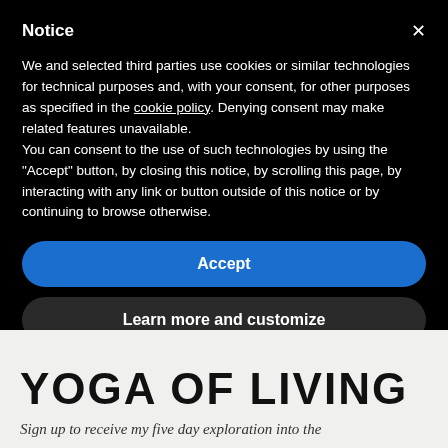Notice
We and selected third parties use cookies or similar technologies for technical purposes and, with your consent, for other purposes as specified in the cookie policy. Denying consent may make related features unavailable.
You can consent to the use of such technologies by using the "Accept" button, by closing this notice, by scrolling this page, by interacting with any link or button outside of this notice or by continuing to browse otherwise.
Accept
Learn more and customize
YOGA OF LIVING
Sign up to receive my five day exploration into the